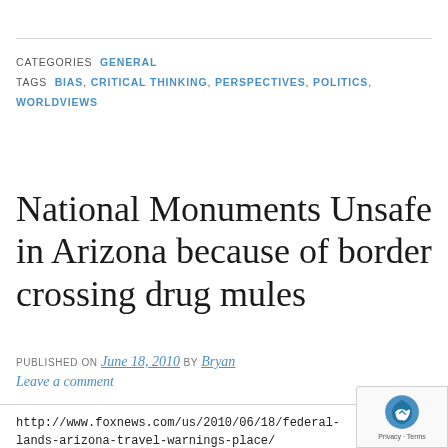CATEGORIES  GENERAL
TAGS  BIAS, CRITICAL THINKING, PERSPECTIVES, POLITICS, WORLDVIEWS
National Monuments Unsafe in Arizona because of border crossing drug mules
PUBLISHED ON June 18, 2010 by Bryan
Leave a comment
http://www.foxnews.com/us/2010/06/18/federal-lands-arizona-travel-warnings-place/